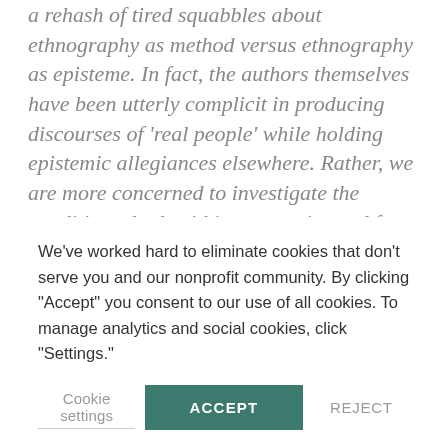a rehash of tired squabbles about ethnography as method versus ethnography as episteme. In fact, the authors themselves have been utterly complicit in producing discourses of 'real people' while holding epistemic allegiances elsewhere. Rather, we are more concerned to investigate the conditions, both within companies and for research agendas, that this way of talking effects. In our experience this language abdicates authorial responsibility, unduly reduces ethnography to "butterfly collecting" at the expense of other business opportunities.
We've worked hard to eliminate cookies that don't serve you and our nonprofit community. By clicking "Accept" you consent to our use of all cookies. To manage analytics and social cookies, click "Settings."